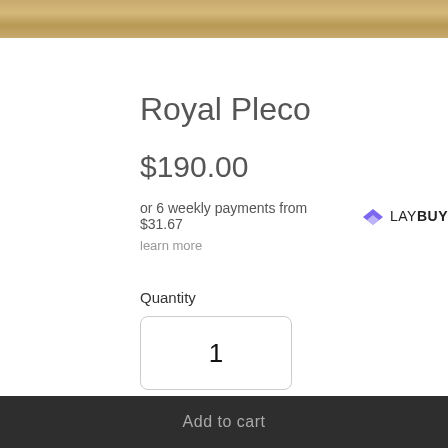[Figure (photo): Top strip showing a partial product image with warm golden/brown tones, likely a fish or natural background.]
Royal Pleco
$190.00
or 6 weekly payments from $31.67  LAY BUY
learn more
Quantity
1
Add to cart